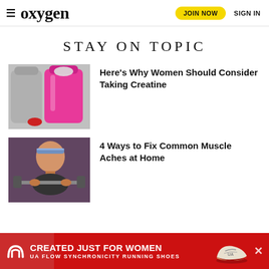oxygen | JOIN NOW | SIGN IN
STAY ON TOPIC
[Figure (photo): Pink shaker bottle with powder and another clear bottle]
Here’s Why Women Should Consider Taking Creatine
[Figure (photo): Woman with headband lifting a barbell at the gym]
4 Ways to Fix Common Muscle Aches at Home
[Figure (infographic): Under Armour advertisement banner: CREATED JUST FOR WOMEN — UA FLOW SYNCHRONICITY RUNNING SHOES]